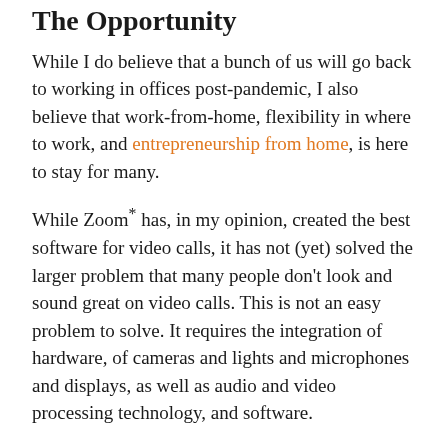The Opportunity
While I do believe that a bunch of us will go back to working in offices post-pandemic, I also believe that work-from-home, flexibility in where to work, and entrepreneurship from home, is here to stay for many.
While Zoom* has, in my opinion, created the best software for video calls, it has not (yet) solved the larger problem that many people don't look and sound great on video calls. This is not an easy problem to solve. It requires the integration of hardware, of cameras and lights and microphones and displays, as well as audio and video processing technology, and software.
Instead of many pieces of equipment to solve it, it could be boiled down to one integrated system. A computer or screen that has a very high quality built-in camera, lights, microphones, and more...